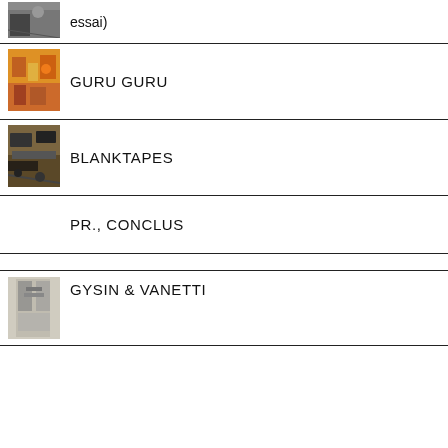[Figure (photo): Small thumbnail photo at top, partially visible, appears to show scattered objects]
essai)
[Figure (photo): Colorful artwork or display, possibly a store or exhibition with vibrant graphics]
GURU GURU
[Figure (photo): Table with electronic equipment, tape decks and cables]
BLANKTAPES
PR., CONCLUS
[Figure (photo): Partially visible grayscale image, appears architectural]
GYSIN & VANETTI